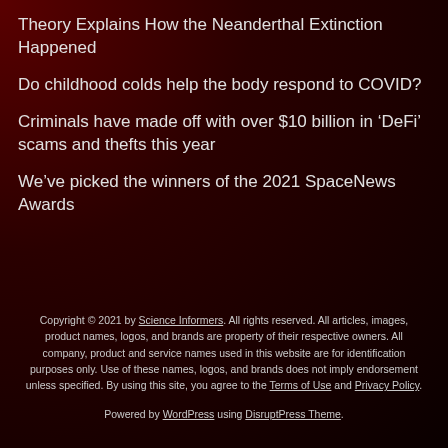Theory Explains How the Neanderthal Extinction Happened
Do childhood colds help the body respond to COVID?
Criminals have made off with over $10 billion in ‘DeFi’ scams and thefts this year
We’ve picked the winners of the 2021 SpaceNews Awards
Copyright © 2021 by Science Informers. All rights reserved. All articles, images, product names, logos, and brands are property of their respective owners. All company, product and service names used in this website are for identification purposes only. Use of these names, logos, and brands does not imply endorsement unless specified. By using this site, you agree to the Terms of Use and Privacy Policy. Powered by WordPress using DisruptPress Theme.